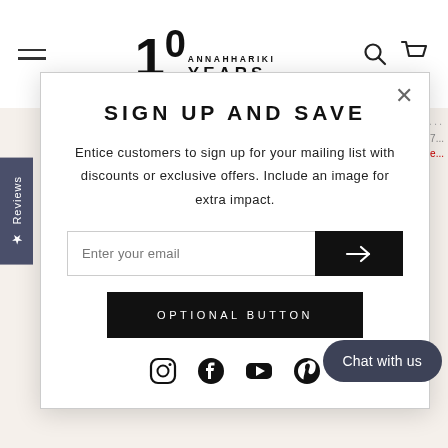10 ANNAHHARIKI YEARS — navigation header with logo, search and cart icons
[Figure (screenshot): Background e-commerce page showing NARA DRESS and GARY A... product listings]
SIGN UP AND SAVE
Entice customers to sign up for your mailing list with discounts or exclusive offers. Include an image for extra impact.
Enter your email
OPTIONAL BUTTON
[Figure (other): Social media icons: Instagram, Facebook, YouTube, Pinterest]
Reviews
Chat with us